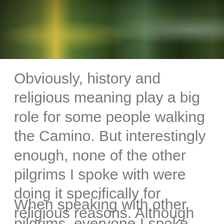[Figure (photo): Aerial or close-up photograph of a lush green forest trail or mossy rocky path with yellow flowers/foliage and dark green trees/ferns]
Obviously, history and religious meaning play a big role for some people walking the Camino. But interestingly enough, none of the other pilgrims I spoke with were doing it specifically for religious reasons. Although there was often a spiritual element to their reason for doing it.
When speaking with other pilgrims, everyone I spoke with said that they got